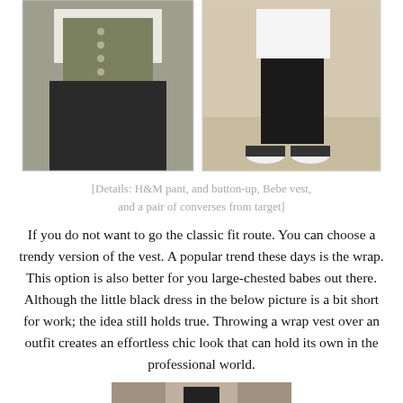[Figure (photo): Two photos side by side: left shows a person wearing a white button-up shirt, olive/grey vest, and dark pants; right shows a person in black pants and Converse sneakers standing on tile floor.]
[Details: H&M pant, and button-up, Bebe vest, and a pair of converses from target]
If you do not want to go the classic fit route. You can choose a trendy version of the vest. A popular trend these days is the wrap. This option is also better for you large-chested babes out there. Although the little black dress in the below picture is a bit short for work; the idea still holds true. Throwing a wrap vest over an outfit creates an effortless chic look that can hold its own in the professional world.
[Figure (photo): Partial photo at the bottom of the page showing the beginning of another outfit image.]